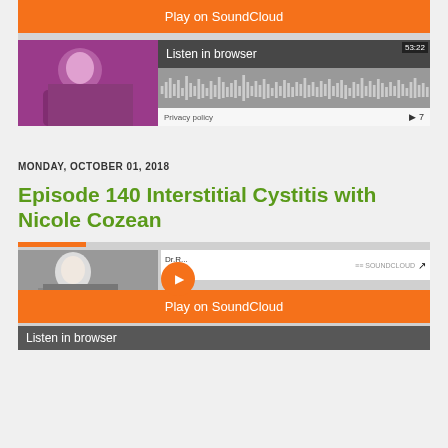[Figure (screenshot): SoundCloud embedded player with orange Play on SoundCloud button, podcast thumbnail of person in pink, waveform display showing 53:22, Listen in browser bar, Privacy policy text, and play count 7]
MONDAY, OCTOBER 01, 2018
Episode 140 Interstitial Cystitis with Nicole Cozean
[Figure (screenshot): SoundCloud embedded player with orange accent bar, thumbnail of person, play circle button, Dr.R... Epi... text, SoundCloud logo, share icon, orange Play on SoundCloud button, and Listen in browser bar partially visible]